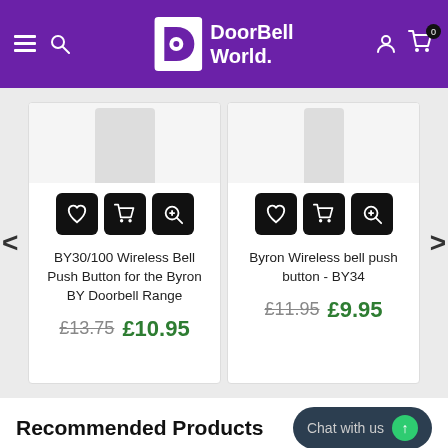DoorBell World.
[Figure (photo): Product image area for BY30/100 Wireless Bell Push Button]
BY30/100 Wireless Bell Push Button for the Byron BY Doorbell Range
£13.75 £10.95
[Figure (photo): Product image area for Byron Wireless bell push button - BY34]
Byron Wireless bell push button - BY34
£11.95 £9.95
Recommended Products
Chat with us
ADD TO CART